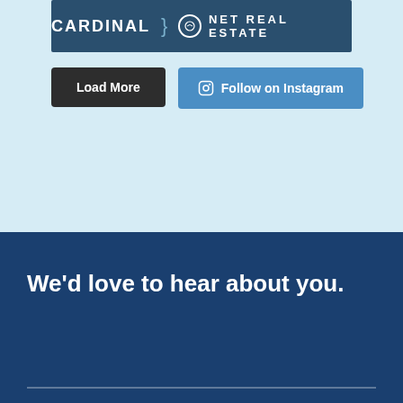[Figure (logo): Cardinal Net Real Estate logo banner on dark blue background with white text and circular emblem]
Load More
Follow on Instagram
We'd love to hear about you.